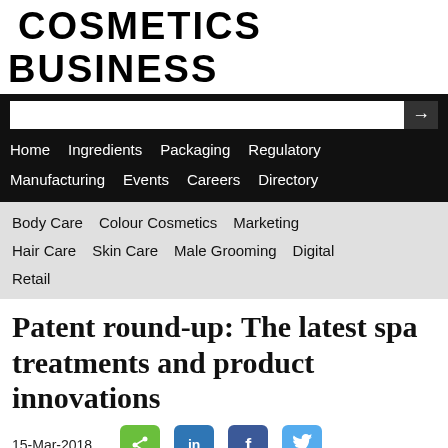COSMETICS BUSINESS
[Figure (screenshot): Navigation bar with search box and menu links: Home, Ingredients, Packaging, Regulatory, Manufacturing, Events, Careers, Directory]
Body Care  Colour Cosmetics  Marketing  Hair Care  Skin Care  Male Grooming  Digital  Retail
Patent round-up: The latest spa treatments and product innovations
15-Mar-2018
Regulatory | Research & Development